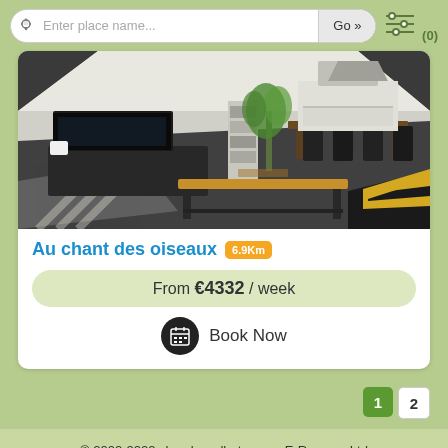[Figure (screenshot): Search bar with location pin icon, placeholder text 'Enter place name...', 'Go »' button, and filter icon with (0) count]
[Figure (photo): Interior photo of a modern living space with dark hardwood floors, a wooden coffee table with black metal frame, TV on a dark media unit, bookshelves, dining table with chairs, kitchen in background, and a yellow/black patterned sofa on the right]
Au chant des oiseaux  6.9Km
From €4332 / week
Book Now
1  2
© 2002-2022 chambresdhotes.org. E-Reserve Ltd
Add - Privacy Policy - Terms of Service